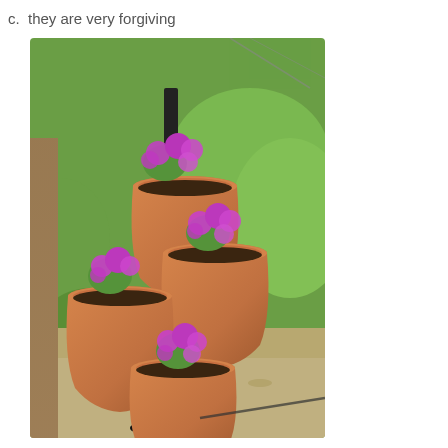c.  they are very forgiving
[Figure (photo): A vertical tiered metal pole stand holding four terracotta clay pots with purple petunia flowers, photographed outdoors in a garden with green bushes and gravel ground in the background.]